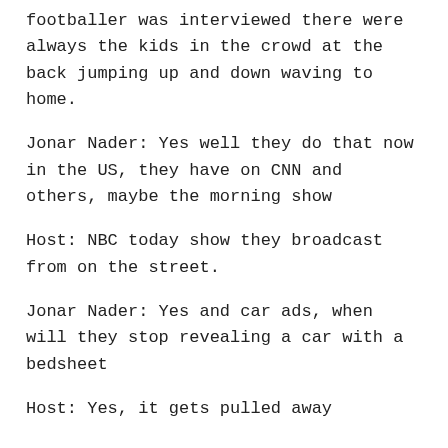footballer was interviewed there were always the kids in the crowd at the back jumping up and down waving to home.
Jonar Nader: Yes well they do that now in the US, they have on CNN and others, maybe the morning show
Host: NBC today show they broadcast from on the street.
Jonar Nader: Yes and car ads, when will they stop revealing a car with a bedsheet
Host: Yes, it gets pulled away